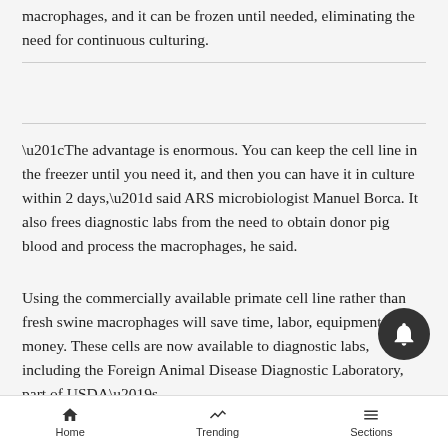macrophages, and it can be frozen until needed, eliminating the need for continuous culturing.
“The advantage is enormous. You can keep the cell line in the freezer until you need it, and then you can have it in culture within 2 days,” said ARS microbiologist Manuel Borca. It also frees diagnostic labs from the need to obtain donor pig blood and process the macrophages, he said.
Using the commercially available primate cell line rather than fresh swine macrophages will save time, labor, equipment and money. These cells are now available to diagnostic labs, including the Foreign Animal Disease Diagnostic Laboratory, part of USDA’s
Home   Trending   Sections